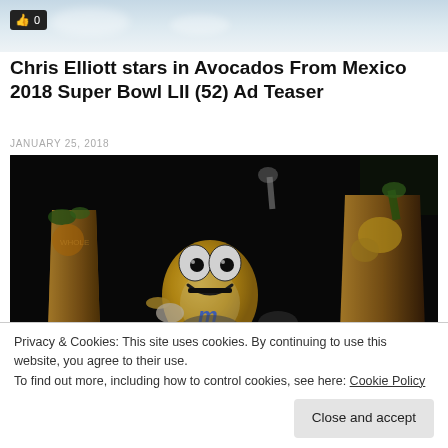[Figure (photo): Top strip of a photo showing sky with clouds]
Chris Elliott stars in Avocados From Mexico 2018 Super Bowl LII (52) Ad Teaser
JANUARY 25, 2018
[Figure (photo): Dark scene showing the yellow M&M character among grocery bags]
Privacy & Cookies: This site uses cookies. By continuing to use this website, you agree to their use.
To find out more, including how to control cookies, see here: Cookie Policy
Close and accept